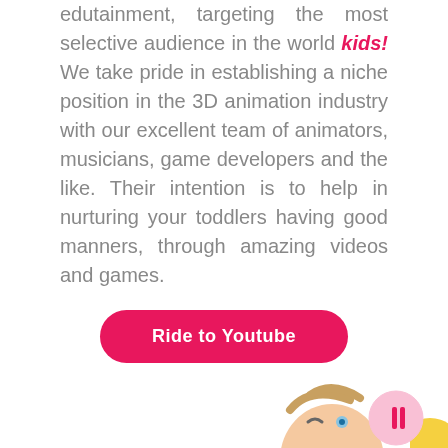edutainment, targeting the most selective audience in the world kids! We take pride in establishing a niche position in the 3D animation industry with our excellent team of animators, musicians, game developers and the like. Their intention is to help in nurturing your toddlers having good manners, through amazing videos and games.
[Figure (illustration): A pink/magenta rounded rectangle button with white bold text 'Ride to Youtube']
[Figure (illustration): A baby face cartoon partially visible at the bottom left, and a yellow shape partially visible at the bottom center. A pink circle with a pause/bar icon at the bottom right.]